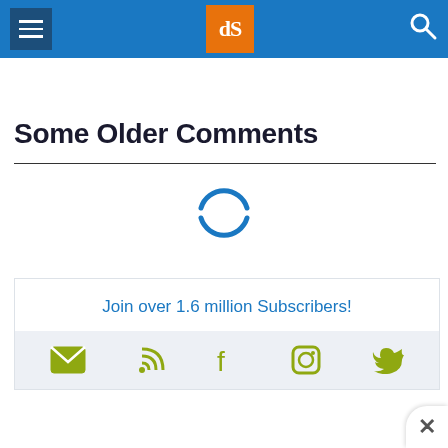dPS site header with hamburger menu, logo, and search icon
Some Older Comments
[Figure (other): Loading spinner — two curved blue arcs forming an incomplete circle, indicating content is loading]
Join over 1.6 million Subscribers!
[Figure (infographic): Social media icons row: email (envelope), RSS feed, Facebook, Instagram, Twitter — all in olive/yellow-green color]